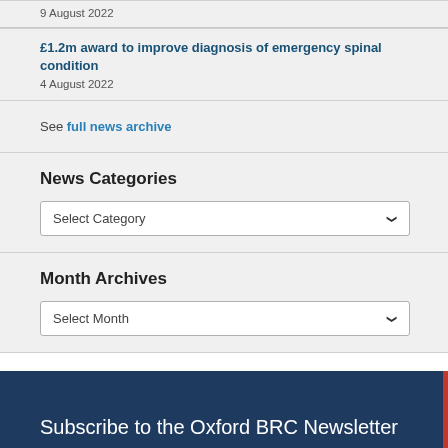9 August 2022
£1.2m award to improve diagnosis of emergency spinal condition
4 August 2022
See full news archive
News Categories
Select Category
Month Archives
Select Month
Subscribe to the Oxford BRC Newsletter